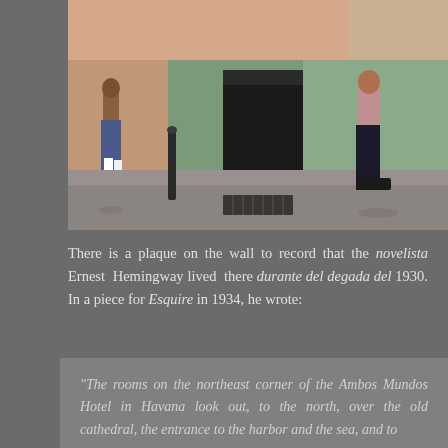[Figure (photo): Street scene in Havana showing two men walking on a cobblestone street in front of a building with pink and green painted walls and a dark doorway.]
There is a plaque on the wall to record that the novelista Ernest Hemingway lived there durante del degada del 1930. In a piece for Esquire in 1934, he wrote:
“The rooms on the northeast corner of the Ambos Mundos Hotel in Havana look out, to the north, over the old cathedral, the entrance to the harbor and the sea, and to